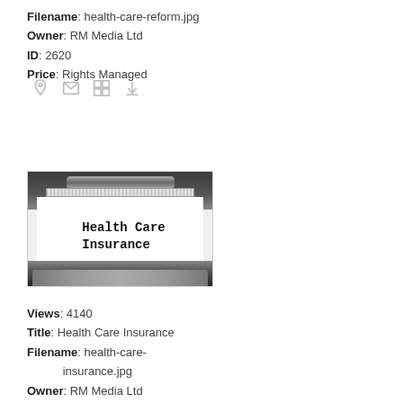Filename: health-care-reform.jpg
Owner: RM Media Ltd
ID: 2620
Price: Rights Managed
[Figure (photo): Photo of typewriter with paper reading 'Health Care Insurance']
Views: 4140
Title: Health Care Insurance
Filename: health-care-insurance.jpg
Owner: RM Media Ltd